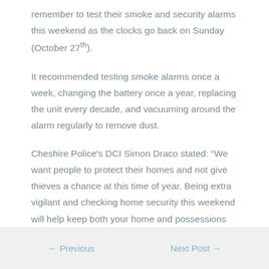remember to test their smoke and security alarms this weekend as the clocks go back on Sunday (October 27th).
It recommended testing smoke alarms once a week, changing the battery once a year, replacing the unit every decade, and vacuuming around the alarm regularly to remove dust.
Cheshire Police's DCI Simon Draco stated: “We want people to protect their homes and not give thieves a chance at this time of year. Being extra vigilant and checking home security this weekend will help keep both your home and possessions safe from criminals.”
← Previous    Next Post →